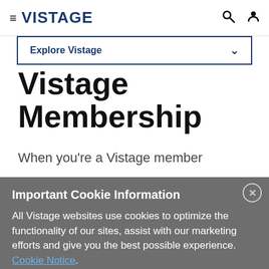VISTAGE
Explore Vistage
Vistage Membership
When you're a Vistage member
Important Cookie Information
All Vistage websites use cookies to optimize the functionality of our sites, assist with our marketing efforts and give you the best possible experience. Cookie Notice.